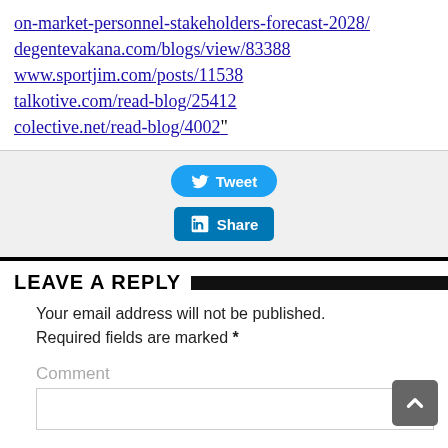on-market-personnel-stakeholders-forecast-2028/ degentevakana.com/blogs/view/83388 www.sportjim.com/posts/11538 talkotive.com/read-blog/25412 colective.net/read-blog/4002"
[Figure (other): Tweet button (Twitter/X social share button, blue rounded) and LinkedIn Share button (blue square corners)]
LEAVE A REPLY
Your email address will not be published. Required fields are marked *
Comment